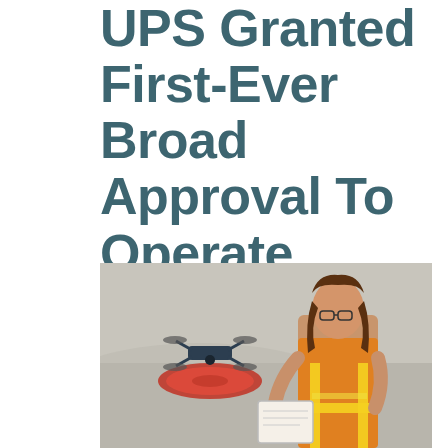UPS Granted First-Ever Broad Approval To Operate Numerous Drones For Delivery
[Figure (photo): A woman in a safety vest and glasses crouches and writes on a clipboard or document near a drone sitting on an orange circular landing pad on a paved surface outdoors.]